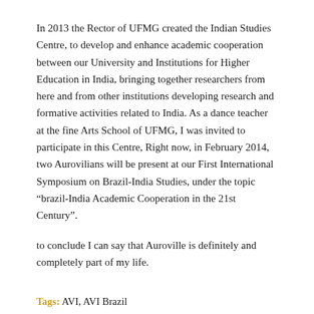In 2013 the Rector of UFMG created the Indian Studies Centre, to develop and enhance academic cooperation between our University and Institutions for Higher Education in India, bringing together researchers from here and from other institutions developing research and formative activities related to India. As a dance teacher at the fine Arts School of UFMG, I was invited to participate in this Centre, Right now, in February 2014, two Aurovilians will be present at our First International Symposium on Brazil-India Studies, under the topic “brazil-India Academic Cooperation in the 21st Century”.
to conclude I can say that Auroville is definitely and completely part of my life.
Tags: AVI, AVI Brazil
Share this entry